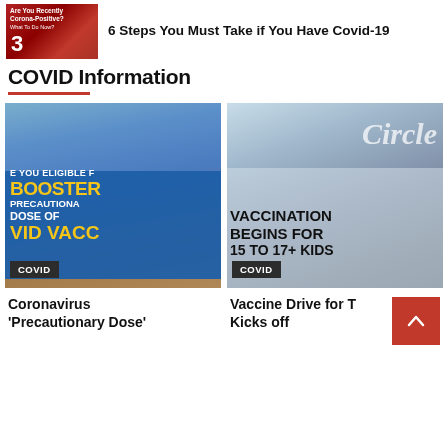[Figure (screenshot): Thumbnail image for article: red background with text 'Corona-Positive' and number 3]
6 Steps You Must Take if You Have Covid-19
COVID Information
[Figure (photo): Left card image showing blue vaccine/booster content: text reads 'E YOU ELIGIBLE BOOSTER PRECAUTIONARY DOSE OF ID VACC' with COVID badge]
[Figure (photo): Right card image showing vaccination content: text reads 'Circle VACCINATION BEGINS FOR 15 TO 17+ KIDS' with COVID badge]
Coronavirus 'Precautionary Dose'
Vaccine Drive for T Kicks off